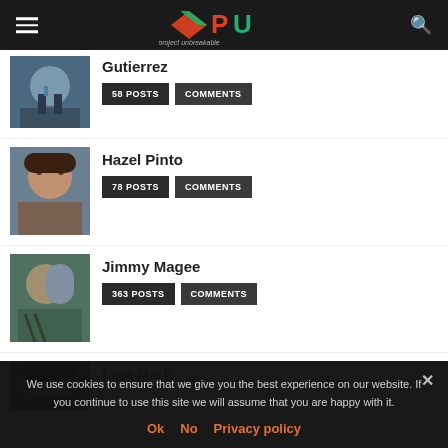Project Unbreakable - PU logo header with hamburger menu and search icon
Gutierrez — 58 POSTS | COMMENTS
Hazel Pinto — 78 POSTS | COMMENTS
Jimmy Magee — 363 POSTS | COMMENTS
Lina Mark
We use cookies to ensure that we give you the best experience on our website. If you continue to use this site we will assume that you are happy with it. Ok No Privacy policy